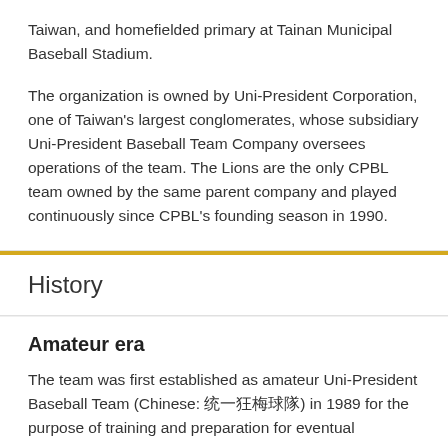Taiwan, and homefielded primary at Tainan Municipal Baseball Stadium.
The organization is owned by Uni-President Corporation, one of Taiwan's largest conglomerates, whose subsidiary Uni-President Baseball Team Company oversees operations of the team. The Lions are the only CPBL team owned by the same parent company and played continuously since CPBL's founding season in 1990.
History
Amateur era
The team was first established as amateur Uni-President Baseball Team (Chinese: 統一獅棒球隊) in 1989 for the purpose of training and preparation for eventual